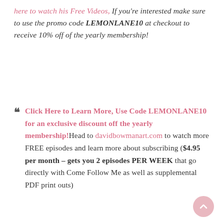here to watch his Free Videos, If you're interested make sure to use the promo code LEMONLANE10 at checkout to receive 10% off of the yearly membership!
" Click Here to Learn More, Use Code LEMONLANE10 for an exclusive discount off the yearly membership! Head to davidbowmanart.com to watch more FREE episodes and learn more about subscribing ($4.95 per month – gets you 2 episodes PER WEEK that go directly with Come Follow Me as well as supplemental PDF print outs)